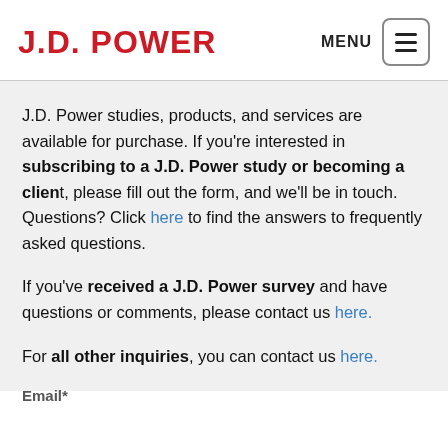J.D. POWER | MENU
J.D. Power studies, products, and services are available for purchase. If you’re interested in subscribing to a J.D. Power study or becoming a client, please fill out the form, and we'll be in touch. Questions? Click here to find the answers to frequently asked questions.
If you’ve received a J.D. Power survey and have questions or comments, please contact us here.
For all other inquiries, you can contact us here.
Email*